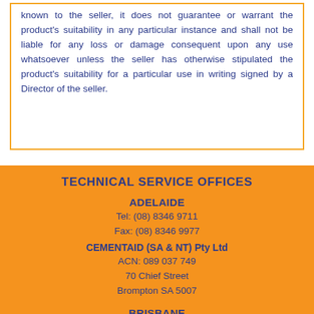known to the seller, it does not guarantee or warrant the product's suitability in any particular instance and shall not be liable for any loss or damage consequent upon any use whatsoever unless the seller has otherwise stipulated the product's suitability for a particular use in writing signed by a Director of the seller.
TECHNICAL SERVICE OFFICES
ADELAIDE
Tel: (08) 8346 9711
Fax: (08) 8346 9977
CEMENTAID (SA & NT) Pty Ltd
ACN: 089 037 749
70 Chief Street
Brompton SA 5007
BRISBANE